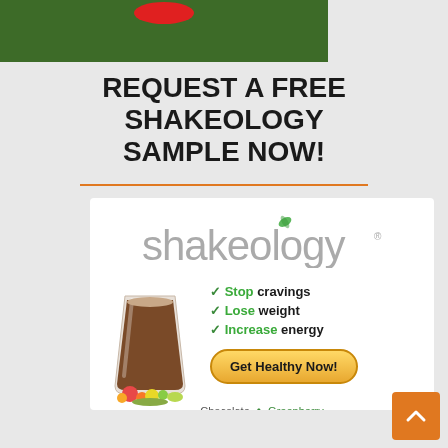[Figure (photo): Partial view of outdoor photo with green foliage background and red shape at top]
REQUEST A FREE SHAKEOLOGY SAMPLE NOW!
[Figure (illustration): Shakeology advertisement box showing the Shakeology logo with leaf, a chocolate shake glass with fruits and vegetables, benefit checkmarks (Stop cravings, Lose weight, Increase energy), a Get Healthy Now button, flavor options (Chocolate, Greenberry), and Request A Free Sample text]